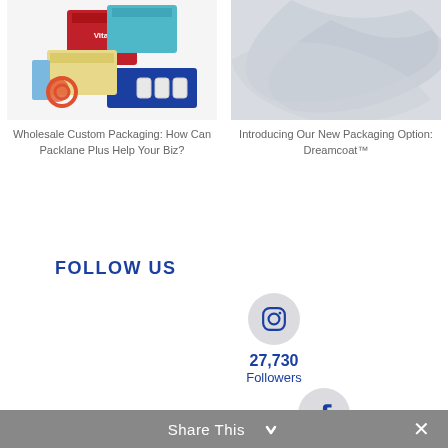[Figure (photo): Photo of colorful custom packaging boxes including red, teal, and blue boxes with various labels]
Wholesale Custom Packaging: How Can Packlane Plus Help Your Biz?
[Figure (photo): Light gray abstract background with subtle wave/ribbon graphic representing Dreamcoat packaging option]
Introducing Our New Packaging Option: Dreamcoat™
FOLLOW US
[Figure (infographic): Instagram icon circle with 27,730 Followers count]
27,730
Followers
[Figure (infographic): Facebook icon circle with 11,740 Followers count]
11,740
Followers
Share This  ✕